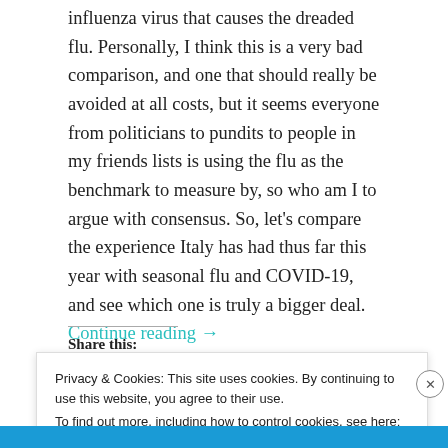influenza virus that causes the dreaded flu. Personally, I think this is a very bad comparison, and one that should really be avoided at all costs, but it seems everyone from politicians to pundits to people in my friends lists is using the flu as the benchmark to measure by, so who am I to argue with consensus. So, let's compare the experience Italy has had thus far this year with seasonal flu and COVID-19, and see which one is truly a bigger deal. Continue reading →
Share this:
Privacy & Cookies: This site uses cookies. By continuing to use this website, you agree to their use. To find out more, including how to control cookies, see here: Cookie Policy